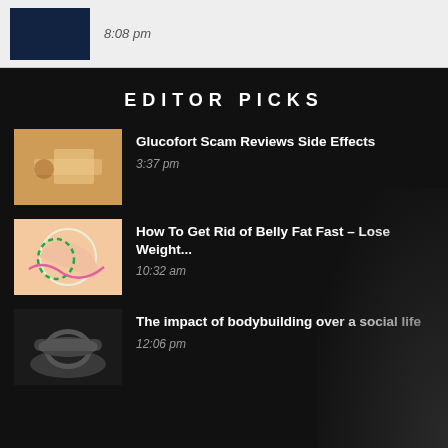8:08 pm
EDITOR PICKS
Glucofort Scam Reviews Side Effects
3:37 pm
How To Get Rid of Belly Fat Fast – Lose Weight...
10:32 am
The impact of bodybuilding over a social life
12:06 pm